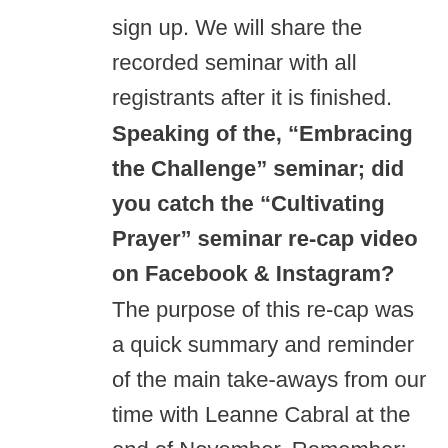sign up. We will share the recorded seminar with all registrants after it is finished.

Speaking of the, “Embracing the Challenge” seminar; did you catch the “Cultivating Prayer” seminar re-cap video on Facebook & Instagram? The purpose of this re-cap was a quick summary and reminder of the main take-aways from our time with Leanne Cabral at the end of November. Remember: prayer is CAUGHT as much as it is